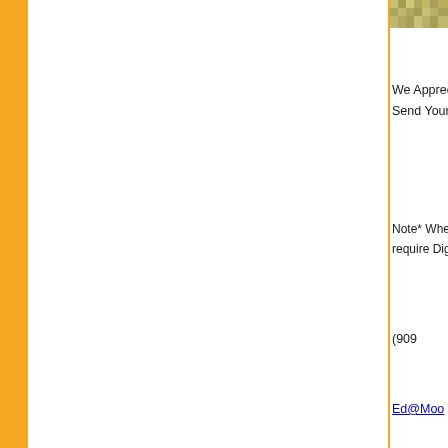[Figure (illustration): Decorative pattern/texture image in top right corner]
We Appreci...
Send Your E...
Note* When calli...
require Digi...
(909...
Ed@Moo...
Need to know how much you need
"HOW MUCH DO I NEED PAGE"
Do you need a Burner?
"JUST CLICK HERE"
Click "HERE" to...
Investme...
Stop by and visit our Showroo...